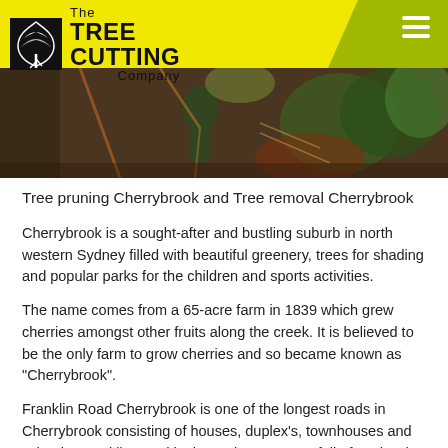The Tree Cutting Company
[Figure (photo): Outdoor photo of tree cutting/removal work, showing workers and trees in a natural setting]
Tree pruning Cherrybrook and Tree removal Cherrybrook
Cherrybrook is a sought-after and bustling suburb in north western Sydney filled with beautiful greenery, trees for shading and popular parks for the children and sports activities.
The name comes from a 65-acre farm in 1839 which grew cherries amongst other fruits along the creek. It is believed to be the only farm to grow cherries and so became known as "Cherrybrook".
Franklin Road Cherrybrook is one of the longest roads in Cherrybrook consisting of houses, duplex's, townhouses and schools. Franklin Road in the early years was full of Orchards.